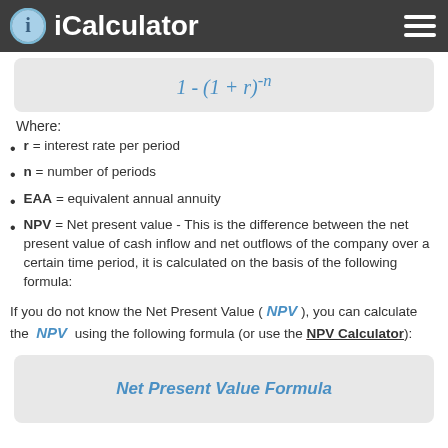iCalculator
Where:
r = interest rate per period
n = number of periods
EAA = equivalent annual annuity
NPV = Net present value - This is the difference between the net present value of cash inflow and net outflows of the company over a certain time period, it is calculated on the basis of the following formula:
If you do not know the Net Present Value ( NPV ), you can calculate the NPV using the following formula (or use the NPV Calculator):
Net Present Value Formula